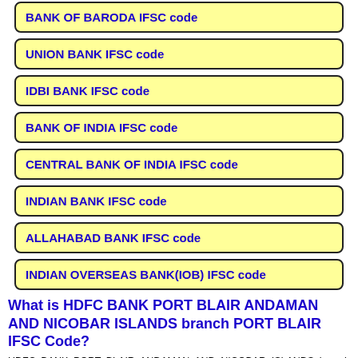BANK OF BARODA IFSC code
UNION BANK IFSC code
IDBI BANK IFSC code
BANK OF INDIA IFSC code
CENTRAL BANK OF INDIA IFSC code
INDIAN BANK IFSC code
ALLAHABAD BANK IFSC code
INDIAN OVERSEAS BANK(IOB) IFSC code
What is HDFC BANK PORT BLAIR ANDAMAN AND NICOBAR ISLANDS branch PORT BLAIR IFSC Code?
HDFC BANK PORT BLAIR ANDAMAN AND NICOBAR ISLANDS branch IFSC code is HDFC0001994. The full form of IFSC code is Indian Financial System Code.HDFC BANK PORT BLAIR ANDAMAN AND NICOBAR ISLANDS branch PORT BLAIR IFSC code has 11 digits and it is a collection of number and letters.Ordinarily, The code can be found on the registration given by the HDFC BANK PORT BLAIR ANDAMAN AND NICOBAR ISLANDS